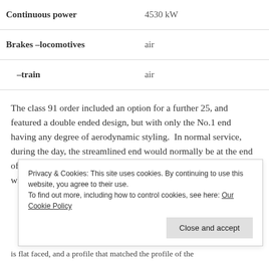| Property | Value |
| --- | --- |
| Continuous power | 4530 kW |
| Brakes  –locomotives | air |
| –train | air |
The class 91 order included an option for a further 25, and featured a double ended design, but with only the No.1 end having any degree of aerodynamic styling.  In normal service, during the day, the streamlined end would normally be at the end of the train, pulling when running in one direction, and pushing, when running in the opposite
Privacy & Cookies: This site uses cookies. By continuing to use this website, you agree to their use.
To find out more, including how to control cookies, see here: Our Cookie Policy
is flat faced, and a profile that matched the profile of the